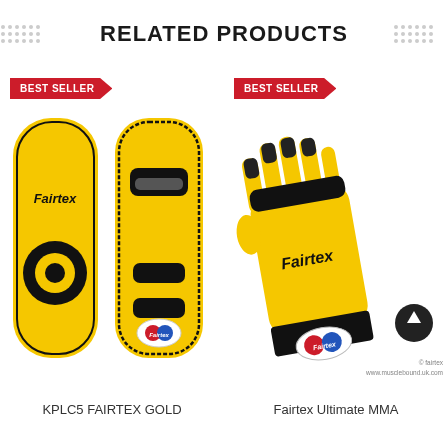RELATED PRODUCTS
[Figure (photo): Two yellow Fairtex KPLC5 Thai pads shown front and back, with a red Best Seller banner, Fairtex logo and target circle visible]
[Figure (photo): Yellow and black Fairtex Ultimate MMA gloves shown with red Best Seller banner and Fairtex logo]
KPLC5 FAIRTEX GOLD
Fairtex Ultimate MMA